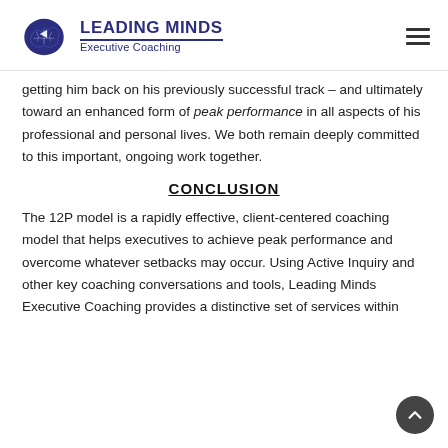LEADING MINDS Executive Coaching
getting him back on his previously successful track – and ultimately toward an enhanced form of peak performance in all aspects of his professional and personal lives. We both remain deeply committed to this important, ongoing work together.
CONCLUSION
The 12P model is a rapidly effective, client-centered coaching model that helps executives to achieve peak performance and overcome whatever setbacks may occur. Using Active Inquiry and other key coaching conversations and tools, Leading Minds Executive Coaching provides a distinctive set of services within